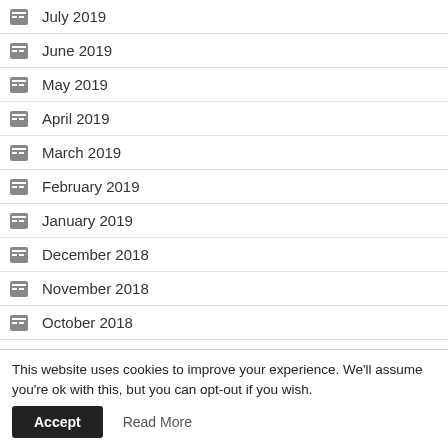July 2019
June 2019
May 2019
April 2019
March 2019
February 2019
January 2019
December 2018
November 2018
October 2018
September 2018
July 2018
This website uses cookies to improve your experience. We'll assume you're ok with this, but you can opt-out if you wish. Accept Read More